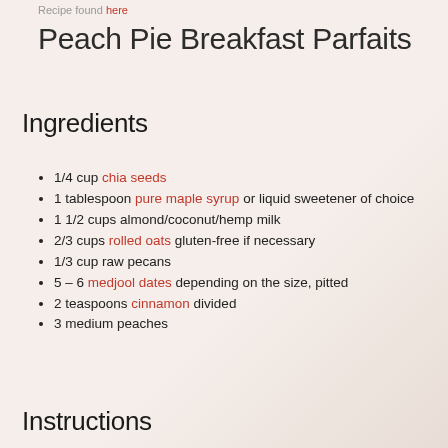Recipe found here
Peach Pie Breakfast Parfaits
Ingredients
1/4 cup chia seeds
1 tablespoon pure maple syrup or liquid sweetener of choice
1 1/2 cups almond/coconut/hemp milk
2/3 cups rolled oats gluten-free if necessary
1/3 cup raw pecans
5 – 6 medjool dates depending on the size, pitted
2 teaspoons cinnamon divided
3 medium peaches
Instructions